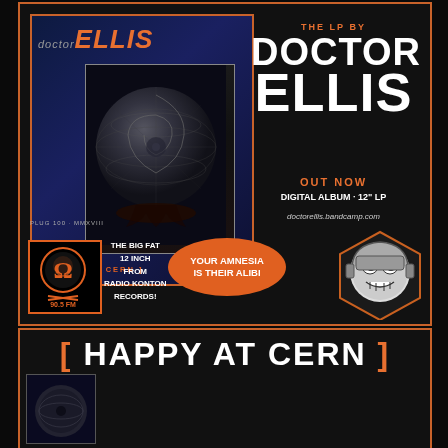[Figure (illustration): Doctor Ellis album cover 'Happy At Cern' showing a dark sphere with grid-like texture on dark blue background, with artist logo at top]
THE LP BY
DOCTOR ELLIS
OUT NOW
DIGITAL ALBUM · 12" LP
doctorellis.bandcamp.com
PLUG 100 · MMXVIII
[Figure (logo): Radio Konton 90.5 FM logo - orange circle with woman face and crossbones]
THE BIG FAT 12 INCH FROM RADIO KONTON RECORDS!
YOUR AMNESIA IS THEIR ALIBI
[Figure (illustration): Hexagonal framed illustration of a robot/monster character in black and white comic style]
[ HAPPY AT CERN ]
[Figure (illustration): Small thumbnail of album art at bottom]